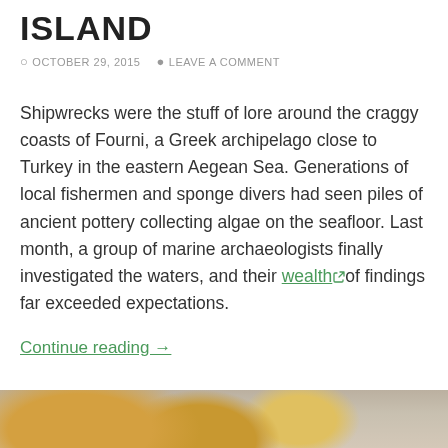ISLAND
OCTOBER 29, 2015   LEAVE A COMMENT
Shipwrecks were the stuff of lore around the craggy coasts of Fourni, a Greek archipelago close to Turkey in the eastern Aegean Sea. Generations of local fishermen and sponge divers had seen piles of ancient pottery collecting algae on the seafloor. Last month, a group of marine archaeologists finally investigated the waters, and their wealth of findings far exceeded expectations.
Continue reading →
AEGEAN SEA
ANCIENT SHIPWRECKS
SHIPWRECKS
TURKEY
[Figure (photo): Bottom strip showing a golden/sandy animal fur or grass, blurred, in warm tones with pink/purple background on the right]